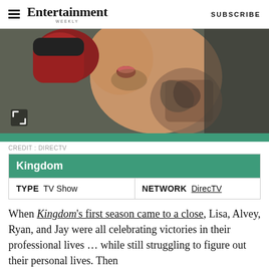Entertainment Weekly | SUBSCRIBE
[Figure (photo): Action photo of a male MMA fighter in the cage, shirtless with tattoos and boxing gloves, mouth open, with a teal/green bar at the bottom.]
CREDIT: DIRECTV
| Kingdom |
| --- |
| TYPE  TV Show | NETWORK  DirecTV |
When Kingdom's first season came to a close, Lisa, Alvey, Ryan, and Jay were all celebrating victories in their professional lives ... while still struggling to figure out their personal lives. Then